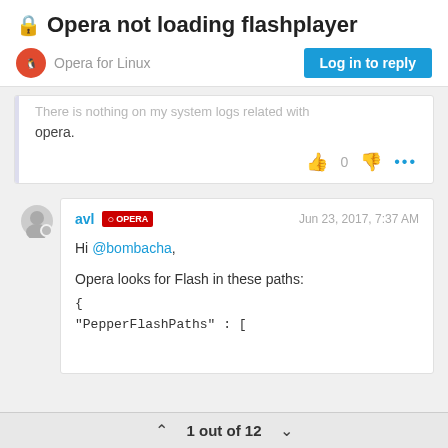Opera not loading flashplayer
Opera for Linux
Log in to reply
There is nothing on my system logs related with opera.
avl  OPERA   Jun 23, 2017, 7:37 AM
Hi @bombacha,
Opera looks for Flash in these paths:
{
"PepperFlashPaths" : [
1 out of 12